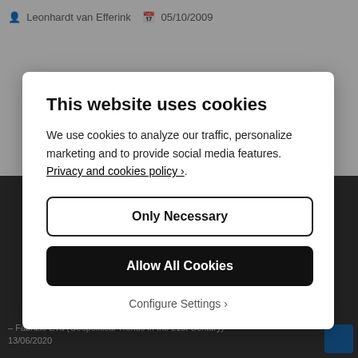Leonhardt van Efferink  05/10/2009
[Figure (screenshot): Website cookie consent modal overlay on a webpage. The modal contains a title 'This website uses cookies', explanatory text with a privacy policy link, two buttons ('Only Necessary' and 'Allow All Cookies'), and a 'Configure Settings ›' link. Background shows a dark sidebar and a footer with text '– Fabrizio Eva (Geopolitical Trends in the 21st Century) 13/06/2020' and a blue button.]